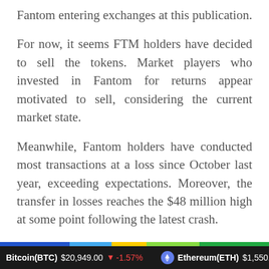Fantom entering exchanges at this publication.
For now, it seems FTM holders have decided to sell the tokens. Market players who invested in Fantom for returns appear motivated to sell, considering the current market state.
Meanwhile, Fantom holders have conducted most transactions at a loss since October last year, exceeding expectations. Moreover, the transfer in losses reaches the $48 million high at some point following the latest crash.
Bitcoin(BTC) $20,949.00 ↓ -1.57%   Ethereum(ETH) $1,550.24 ↓